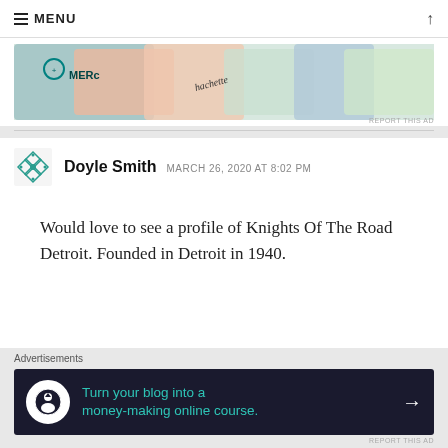≡ MENU
[Figure (photo): Advertisement banner with colorful overlapping book/product covers including Merck and Hachette logos]
REPORT THIS AD
Doyle Smith   MARCH 26, 2020 AT 8:02 PM
Would love to see a profile of Knights Of The Road Detroit. Founded in Detroit in 1940.
Like
Advertisements
[Figure (infographic): Dark banner ad: Turn your blog into a money-making online course. with arrow button]
REPORT THIS AD